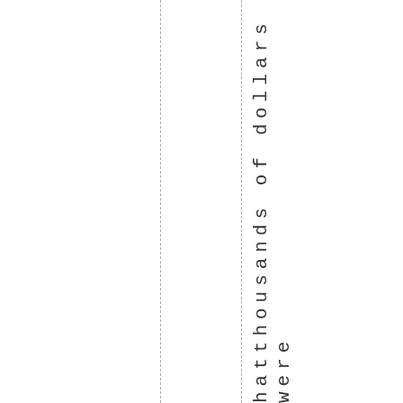h a t t h o u s a n d s o f d o l l a r s w e r e